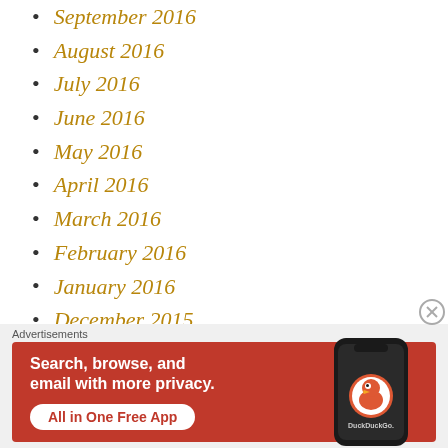September 2016
August 2016
July 2016
June 2016
May 2016
April 2016
March 2016
February 2016
January 2016
December 2015
November 2015
Advertisements
[Figure (other): DuckDuckGo advertisement banner: orange/red background with text 'Search, browse, and email with more privacy. All in One Free App' and a phone showing the DuckDuckGo app logo]